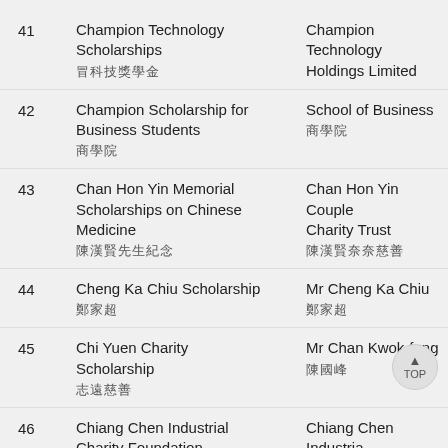41 | Champion Technology Scholarships 冠科技奬學金 | Champion Technology Holdings Limited 冠科技控股有限公司
42 | Champion Scholarship for Business Students 商學院院長奬學金 | School of Business 商學院
43 | Chan Hon Yin Memorial Scholarships on Chinese Medicine 陳漢賢先生紀念中醫藥奬學金 | Chan Hon Yin Couple Charity Trust 陳漢賢夫婦慈善信託基金
44 | Cheng Ka Chiu Scholarship 鄭家超奬學金 | Mr Cheng Ka Chiu 鄭家超先生
45 | Chi Yuen Charity Scholarship 志遠慈善奬學金 | Mr Chan Kwok-fung 陳國峰先生
46 | Chiang Chen Industrial Charity Foundation Scholarship 蔣震工業慈善基金奬學金 | Chiang Chen Industrial Charity Foundation (HK) Limited 蔣震工業慈善基金有限公司
47 | China Daily Scholarship for... | China Daily Hong Kong...